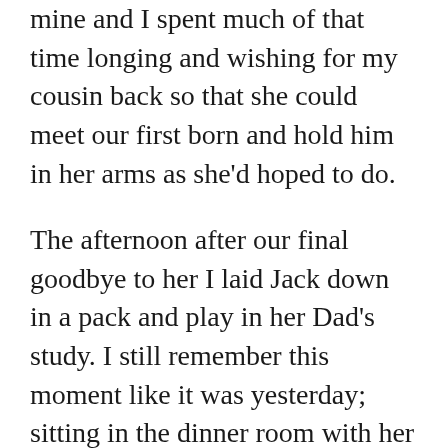mine and I spent much of that time longing and wishing for my cousin back so that she could meet our first born and hold him in her arms as she'd hoped to do.
The afternoon after our final goodbye to her I laid Jack down in a pack and play in her Dad's study. I still remember this moment like it was yesterday; sitting in the dinner room with her family and mine and hearing Jack laughing, and I mean really laughing, at just a few months old. I rushed over to the study to try and capture the moment on camera for his Daddy and peaked into the room to see him laying in his pack and play reaching towards the ceiling laughing and wiggling like he was